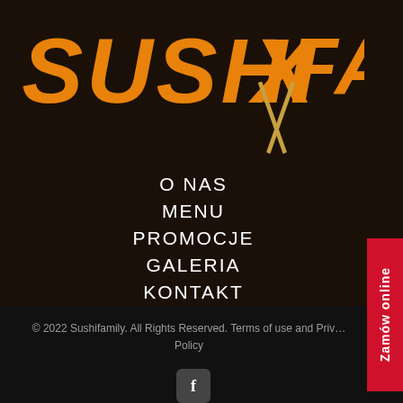[Figure (logo): Sushi X Family logo with orange bold stylized text on dark background]
O NAS
MENU
PROMOCJE
GALERIA
KONTAKT
Zamów online
© 2022 Sushifamily. All Rights Reserved. Terms of use and Privacy Policy
[Figure (logo): Facebook icon button in dark rounded square]